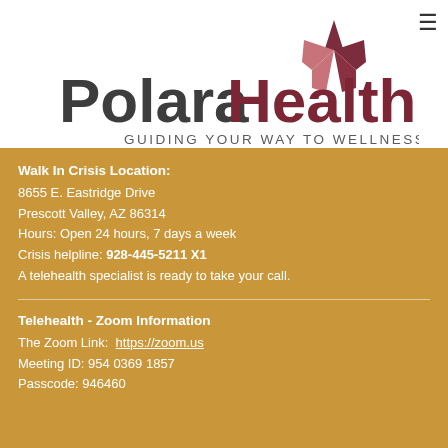[Figure (logo): Polara Health logo with star graphic and tagline 'GUIDING YOUR WAY TO WELLNESS SINCE 1966']
Walk In Crisis Location:
8655 E. Eastridge Drive
Prescott Valley, AZ 86314
Hours: Open 24 hours, 7 days a week
Crisis helpline: 928-445-5211 X1
A telehealth specialist is ready to take your call.
Telehealth - Zoom Information
The Zoom Link: https://zoom.us
Meeting ID: 954 0369 1857
Passcode: 946460